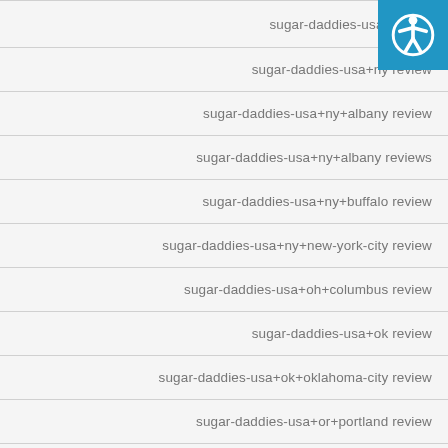sugar-daddies-usa+nm we
sugar-daddies-usa+ny review
sugar-daddies-usa+ny+albany review
sugar-daddies-usa+ny+albany reviews
sugar-daddies-usa+ny+buffalo review
sugar-daddies-usa+ny+new-york-city review
sugar-daddies-usa+oh+columbus review
sugar-daddies-usa+ok review
sugar-daddies-usa+ok+oklahoma-city review
sugar-daddies-usa+or+portland review